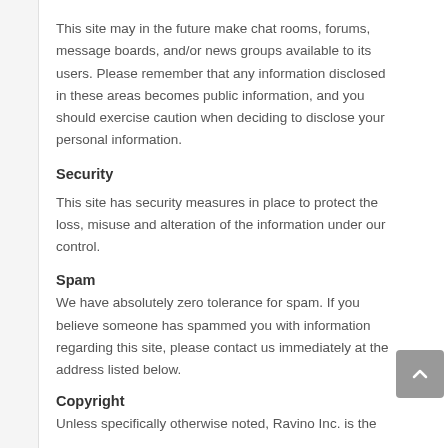This site may in the future make chat rooms, forums, message boards, and/or news groups available to its users. Please remember that any information disclosed in these areas becomes public information, and you should exercise caution when deciding to disclose your personal information.
Security
This site has security measures in place to protect the loss, misuse and alteration of the information under our control.
Spam
We have absolutely zero tolerance for spam. If you believe someone has spammed you with information regarding this site, please contact us immediately at the address listed below.
Copyright
Unless specifically otherwise noted, Ravino Inc. is the